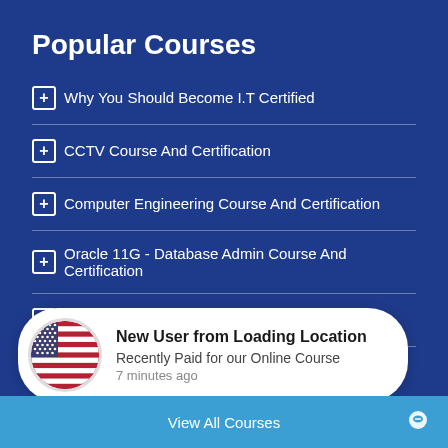Popular Courses
Why You Should Become I.T Certified
CCTV Course And Certification
Computer Engineering Course And Certification
Oracle 11G - Database Admin Course And Certification
AutoCAD Course And Certification
New User from Loading Location
Recently Paid for our Online Course
7 minutes ago
View All Courses